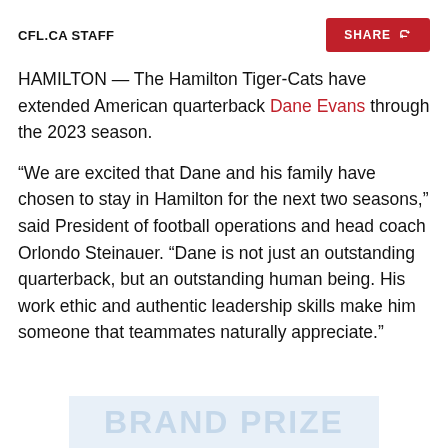CFL.CA STAFF
HAMILTON — The Hamilton Tiger-Cats have extended American quarterback Dane Evans through the 2023 season.
“We are excited that Dane and his family have chosen to stay in Hamilton for the next two seasons,” said President of football operations and head coach Orlondo Steinauer. “Dane is not just an outstanding quarterback, but an outstanding human being. His work ethic and authentic leadership skills make him someone that teammates naturally appreciate.”
[Figure (other): Advertisement banner showing 'BRAND PRIZE' text in light blue]